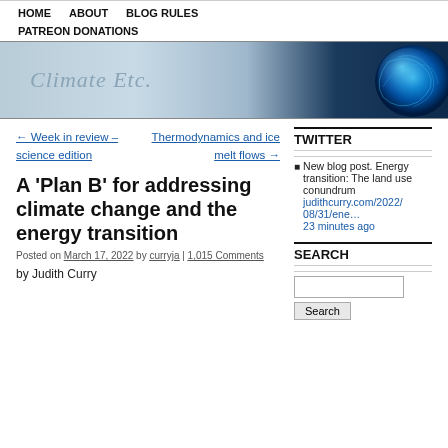HOME   ABOUT   BLOG RULES   PATREON DONATIONS
[Figure (illustration): Climate Etc. blog banner with text 'Climate Etc.' on a blue-grey gradient background and a glowing blue orb on the right side]
← Week in review – science edition
Thermodynamics and ice melt flows →
A 'Plan B' for addressing climate change and the energy transition
Posted on March 17, 2022 by curryja | 1,015 Comments
by Judith Curry
TWITTER
New blog post. Energy transition: The land use conundrum judithcurry.com/2022/08/31/ene… 23 minutes ago
SEARCH